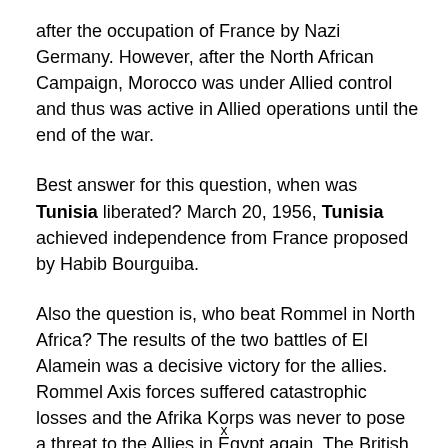after the occupation of France by Nazi Germany. However, after the North African Campaign, Morocco was under Allied control and thus was active in Allied operations until the end of the war.
Best answer for this question, when was Tunisia liberated? March 20, 1956, Tunisia achieved independence from France proposed by Habib Bourguiba.
Also the question is, who beat Rommel in North Africa? The results of the two battles of El Alamein was a decisive victory for the allies. Rommel Axis forces suffered catastrophic losses and the Afrika Korps was never to pose a threat to the Allies in Egypt again. The British went on the offensive in North Africa and they soon had taken much of Libya.The remnants of the
x